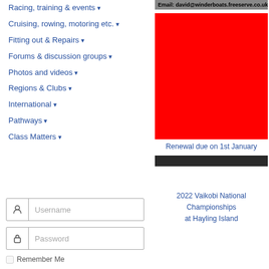Racing, training & events ▾
Cruising, rowing, motoring etc. ▾
Fitting out & Repairs ▾
Forums & discussion groups ▾
Photos and videos ▾
Regions & Clubs ▾
International ▾
Pathways ▾
Class Matters ▾
Username
Password
Remember Me
Email: david@winderboats.freeserve.co.uk
[Figure (illustration): Solid red rectangle representing an image placeholder]
Renewal due on 1st January
[Figure (photo): Dark/dark-toned narrow strip image]
2022 Vaikobi National Championships at Hayling Island